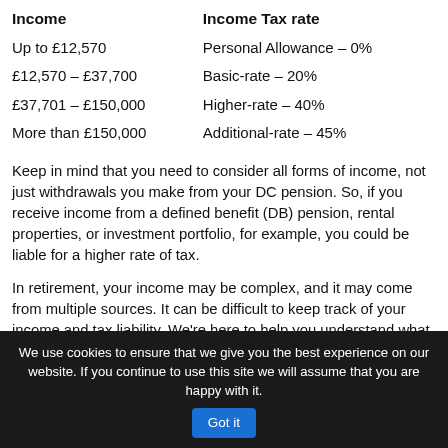| Income | Income Tax rate |
| --- | --- |
| Up to £12,570 | Personal Allowance – 0% |
| £12,570 – £37,700 | Basic-rate – 20% |
| £37,701 – £150,000 | Higher-rate – 40% |
| More than £150,000 | Additional-rate – 45% |
Keep in mind that you need to consider all forms of income, not just withdrawals you make from your DC pension. So, if you receive income from a defined benefit (DB) pension, rental properties, or investment portfolio, for example, you could be liable for a higher rate of tax.
In retirement, your income may be complex, and it may come from multiple sources. It can be difficult to keep track of your income and tax liability. We're here to help you understand what tax you need to pay and how to make use of allowances to make your money go
We use cookies to ensure that we give you the best experience on our website. If you continue to use this site we will assume that you are happy with it.